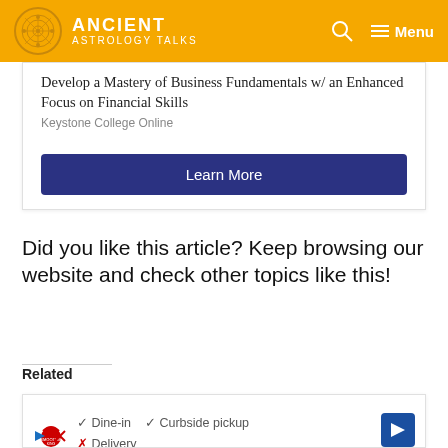ANCIENT ASTROLOGY TALKS
Develop a Mastery of Business Fundamentals w/ an Enhanced Focus on Financial Skills
Keystone College Online
Learn More
Did you like this article? Keep browsing our website and check other topics like this!
Related
[Figure (screenshot): Advertisement showing Smoothie King logo with Dine-in, Curbside pickup, and Delivery options with checkmarks/X marks]